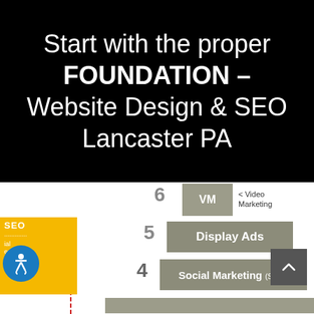Start with the proper FOUNDATION – Website Design & SEO Lancaster PA
[Figure (infographic): Pyramid/layered marketing strategy diagram showing levels: 6 VM (Video Marketing), 5 Display Ads, 4 Social Marketing (SMM), and a bottom row. Includes SEO badge on left and accessibility icon. A scroll-to-top button is on the right.]